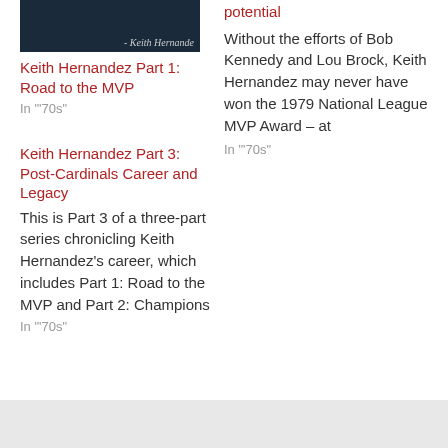[Figure (photo): Dark navy blue image with italic text '- Keith Hernande' at bottom right, thumbnail for an article]
Keith Hernandez Part 1: Road to the MVP
In "'70s"
Keith Hernandez Part 3: Post-Cardinals Career and Legacy
This is Part 3 of a three-part series chronicling Keith Hernandez's career, which includes Part 1: Road to the MVP and Part 2: Champions
In "'70s"
potential
Without the efforts of Bob Kennedy and Lou Brock, Keith Hernandez may never have won the 1979 National League MVP Award – at
In "'70s"